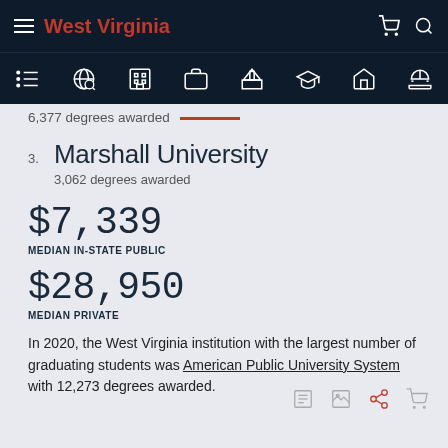West Virginia
6,377 degrees awarded
3. Marshall University
3,062 degrees awarded
$7,339
MEDIAN IN-STATE PUBLIC
$28,950
MEDIAN PRIVATE
In 2020, the West Virginia institution with the largest number of graduating students was American Public University System with 12,273 degrees awarded.